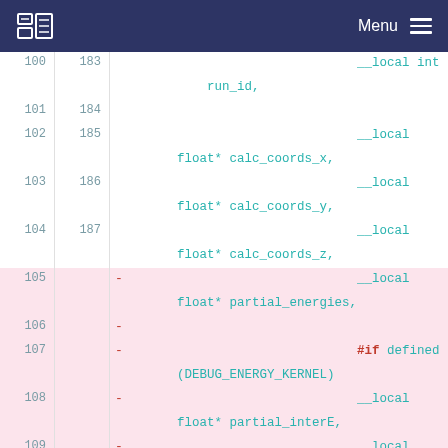Menu
Code diff showing lines 100-111 and 183-189 with removed and added lines for kernel function parameters including run_id, calc_coords_x, calc_coords_y, calc_coords_z, partial_energies, DEBUG_ENERGY_KERNEL, partial_interE, partial_intraE, #endif, and + __local float* partial_energies,